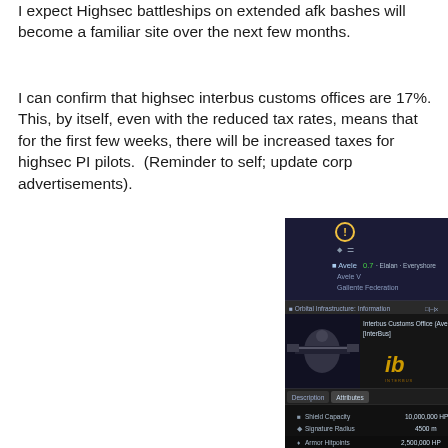I expect Highsec battleships on extended afk bashes will become a familiar site over the next few months.
I can confirm that highsec interbus customs offices are 17%. This, by itself, even with the reduced tax rates, means that for the first few weeks, there will be increased taxes for highsec PI pilots.  (Reminder to self; update corp advertisements).
[Figure (screenshot): EVE Online game UI screenshot showing Orbital Infrastructure Information panel for Interbus Customs Office (Avele V) [InterBus]. Shows shield capacity 10,000,000 HP, Signature Radius 4500 m, Structure Hitpoints 2,000,000 HP, Armor Hitpoints 2,500,000 HP. System: Avele 0.7, Elalan, Everyshore. Gallente Federation.]